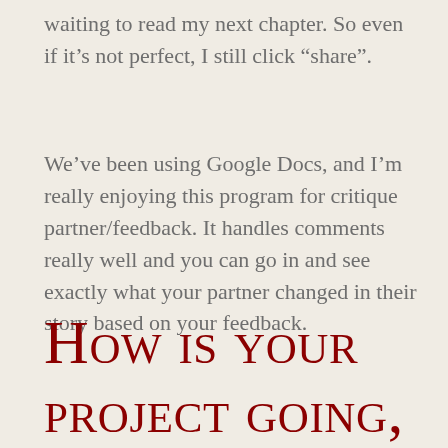waiting to read my next chapter. So even if it’s not perfect, I still click “share”.
We’ve been using Google Docs, and I’m really enjoying this program for critique partner/feedback. It handles comments really well and you can go in and see exactly what your partner changed in their story based on your feedback.
How is your project going, and what have